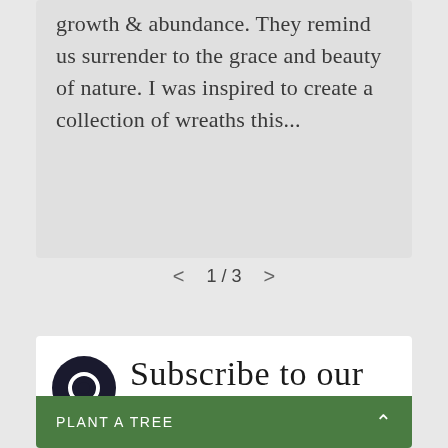growth & abundance. They remind us surrender to the grace and beauty of nature. I was inspired to create a collection of wreaths this...
1/3
Subscribe to our
PLANT A TREE